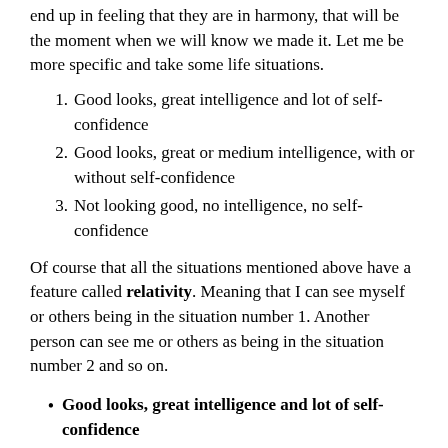end up in feeling that they are in harmony, that will be the moment when we will know we made it. Let me be more specific and take some life situations.
Good looks, great intelligence and lot of self-confidence
Good looks, great or medium intelligence, with or without self-confidence
Not looking good, no intelligence, no self-confidence
Of course that all the situations mentioned above have a feature called relativity. Meaning that I can see myself or others being in the situation number 1. Another person can see me or others as being in the situation number 2 and so on.
Good looks, great intelligence and lot of self-confidence